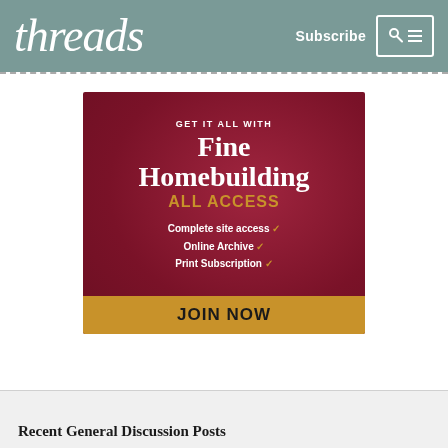threads | Subscribe
[Figure (infographic): Fine Homebuilding All Access advertisement banner with dark red background. Text: GET IT ALL WITH Fine Homebuilding ALL ACCESS. Complete site access ✓ Online Archive ✓ Print Subscription ✓. JOIN NOW button in gold at bottom.]
Recent General Discussion Posts